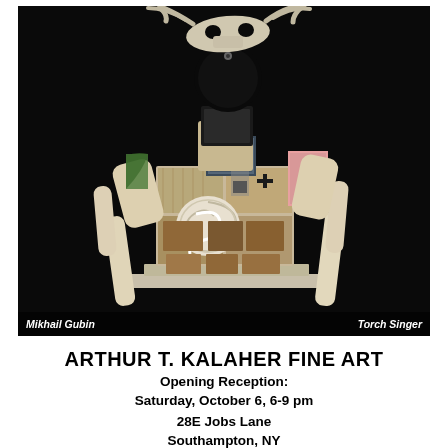[Figure (photo): A sculptural assemblage by Mikhail Gubin titled 'Torch Singer'. The sculpture is a humanoid figure made from found objects, wood pieces, bones, and mixed media. It has a large animal skull at the top with antlers, a round black disk, and a body assembled from various wooden panels, photographs, and objects. The figure stands on a flat base against a dark/black background.]
Mikhail Gubin    Torch Singer
ARTHUR T. KALAHER FINE ART
Opening Reception:
Saturday, October 6, 6-9 pm
28E Jobs Lane
Southampton, NY